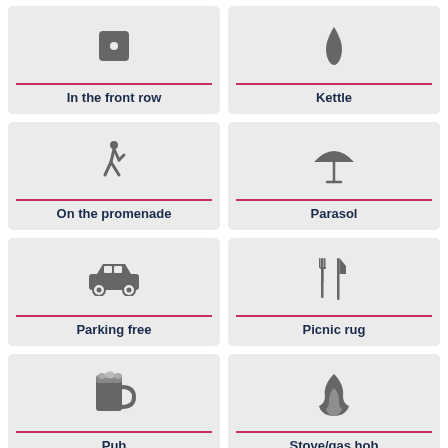[Figure (infographic): Grid of 8 amenity icons with labels: In the front row, Kettle, On the promenade, Parasol, Parking free, Picnic rug, Pub, Stove/gas hob]